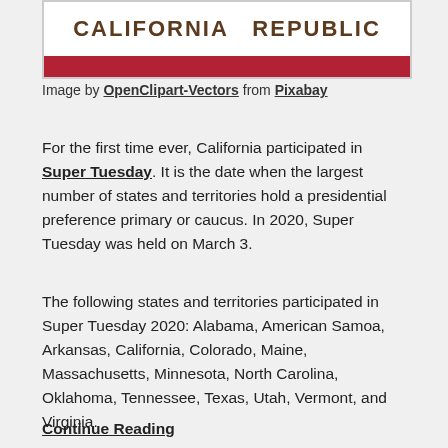[Figure (illustration): Partial California state flag showing 'CALIFORNIA REPUBLIC' text in dark brown on white background with a red stripe below]
Image by OpenClipart-Vectors from Pixabay
For the first time ever, California participated in Super Tuesday. It is the date when the largest number of states and territories hold a presidential preference primary or caucus. In 2020, Super Tuesday was held on March 3.
The following states and territories participated in Super Tuesday 2020: Alabama, American Samoa, Arkansas, California, Colorado, Maine, Massachusetts, Minnesota, North Carolina, Oklahoma, Tennessee, Texas, Utah, Vermont, and Virginia.
Continue Reading